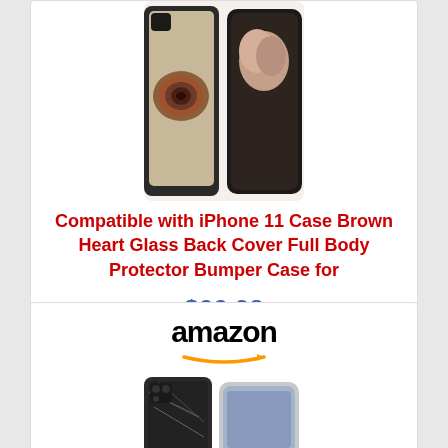[Figure (photo): iPhone 11 case with brown heart wood pattern design, shown from multiple angles]
Compatible with iPhone 11 Case Brown Heart Glass Back Cover Full Body Protector Bumper Case for
$22.38
Shop Now
[Figure (logo): Amazon logo with orange smile arrow]
[Figure (photo): Dark marble pattern iPhone case shown with phone, partial view]